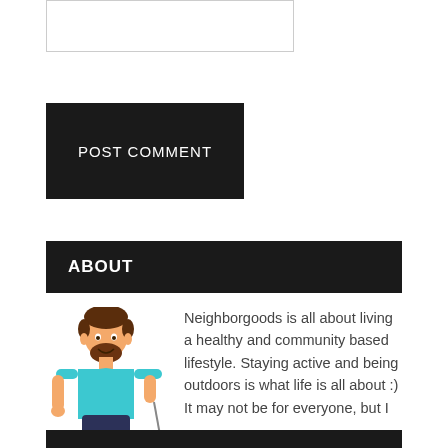[Figure (other): Empty text input box / comment field]
POST COMMENT
ABOUT
[Figure (illustration): Cartoon illustration of a bearded man in a teal t-shirt and dark trousers, holding a stick or leash]
Neighborgoods is all about living a healthy and community based lifestyle. Staying active and being outdoors is what life is all about :) It may not be for everyone, but I believe that the more time we spend with others being active outdoors, the happier we are.